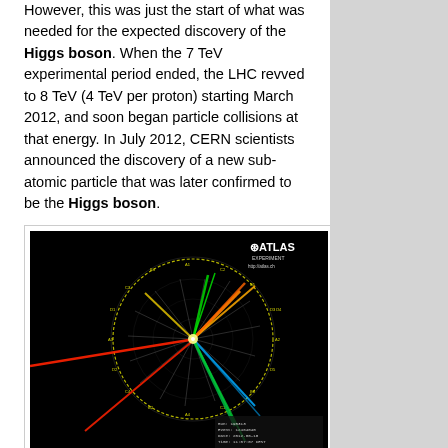However, this was just the start of what was needed for the expected discovery of the Higgs boson. When the 7 TeV experimental period ended, the LHC revved to 8 TeV (4 TeV per proton) starting March 2012, and soon began particle collisions at that energy. In July 2012, CERN scientists announced the discovery of a new sub-atomic particle that was later confirmed to be the Higgs boson.
[Figure (photo): ATLAS Experiment detector event display showing particle collision tracks radiating from a central point, with colorful jets and tracks against a black background. The image shows the Higgs boson discovery event. Watermark: ATLAS EXPERIMENT, http://atlas.ch. Run: 195313, Event: 12464048, Date: 2012-06-18, Time: 11:07:07 CEST]
European Organization for Nuclear Research [La Organización Europea para la Investigación Nuclear][Organisation européenne pour la